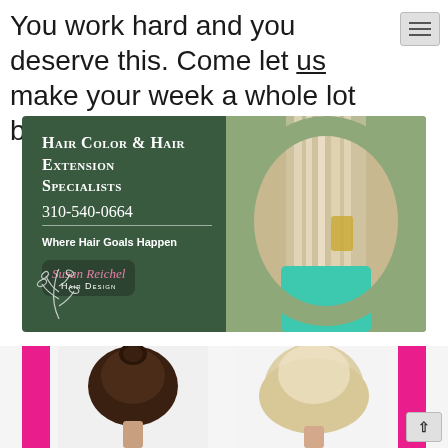You work hard and you deserve this. Come let us make your week a whole lot better!
[Figure (photo): Susan Reichel Hair Design salon advertisement banner on dark green background showing Hair Color & Hair Extension Specialists, phone number 310-540-0664, tagline 'Where Hair Goals Happen', and a circular photo of a woman with long platinum blonde hair]
[Figure (photo): Before and after comparison of hair extensions: left shows dark brunette hair in a low bun, right shows blonde wavy hair after extensions, with bright pink vertical bars on the sides]